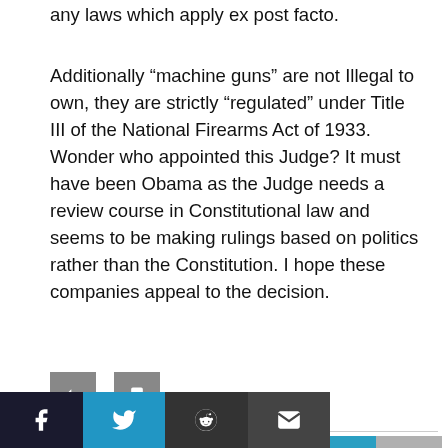any laws which apply ex post facto.
Additionally “machine guns” are not Illegal to own, they are strictly “regulated” under Title III of the National Firearms Act of 1933. Wonder who appointed this Judge? It must have been Obama as the Judge needs a review course in Constitutional law and seems to be making rulings based on politics rather than the Constitution. I hope these companies appeal to the decision.
[Figure (other): Two small gray square icon buttons (reply and bookmark/flag icons)]
[Figure (other): Comment section header bar in teal/blue showing author name CJ Grisham with avatar placeholder, and social share bar at bottom with Facebook, Twitter, Reddit, and email buttons]